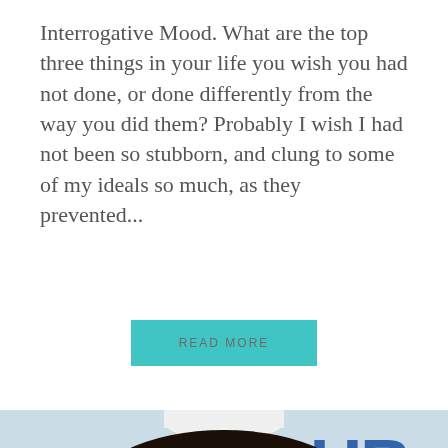Interrogative Mood. What are the top three things in your life you wish you had not done, or done differently from the way you did them? Probably I wish I had not been so stubborn, and clung to some of my ideals so much, as they prevented...
READ MORE
[Figure (photo): Close-up photo of a young Asian man wearing dark-framed glasses, smiling slightly, wearing a dark navy collared shirt. Background shows a light blue/white wall with partial letters visible.]